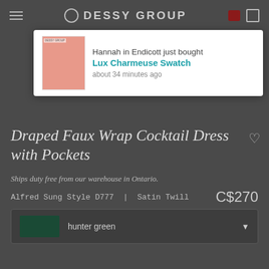DESSY GROUP
[Figure (screenshot): Notification popup: Hannah in Endicott just bought Lux Charmeuse Swatch about 34 minutes ago, with a pink fabric swatch image]
Draped Faux Wrap Cocktail Dress with Pockets
Ships duty free from our warehouse in Ontario.
Alfred Sung Style D777  |  Satin Twill                     C$270
hunter green